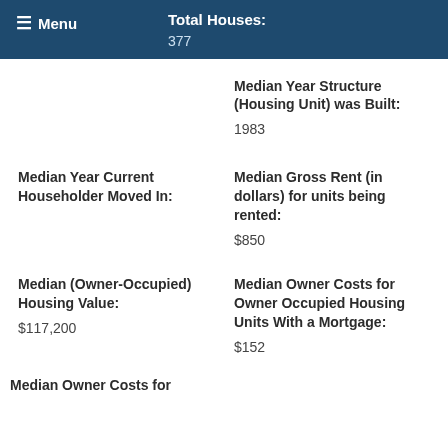Menu | Total Houses: 377
Median Year Structure (Housing Unit) was Built:
1983
Median Year Current Householder Moved In:
Median Gross Rent (in dollars) for units being rented:
$850
Median (Owner-Occupied) Housing Value:
$117,200
Median Owner Costs for Owner Occupied Housing Units With a Mortgage:
$152
Median Owner Costs for